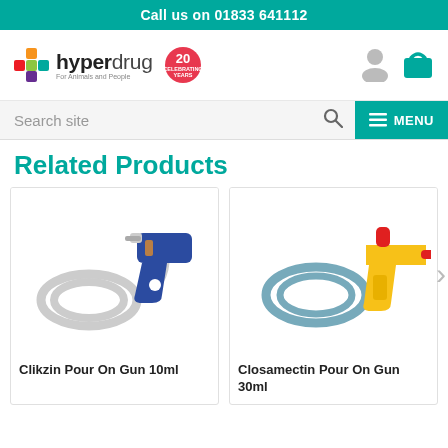Call us on 01833 641112
[Figure (logo): Hyperdrug logo with cross icon and '20 Years Celebrating' badge, tagline 'For Animals and People']
Search site
Related Products
[Figure (photo): Clikzin Pour On Gun 10ml - blue handheld gun applicator with clear tubing and coiled hose]
[Figure (photo): Closamectin Pour On Gun 30ml - yellow and red handheld gun applicator with grey coiled tubing]
Clikzin Pour On Gun 10ml
Closamectin Pour On Gun 30ml